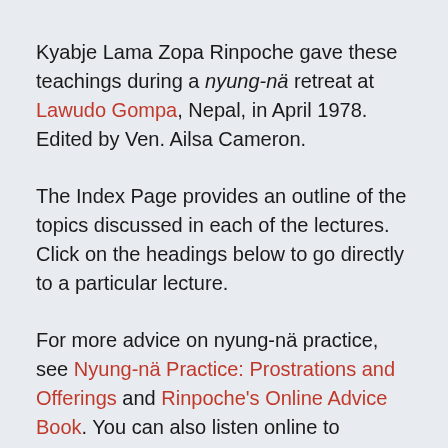Kyabje Lama Zopa Rinpoche gave these teachings during a nyung-nä retreat at Lawudo Gompa, Nepal, in April 1978. Edited by Ven. Ailsa Cameron.
The Index Page provides an outline of the topics discussed in each of the lectures. Click on the headings below to go directly to a particular lecture.
For more advice on nyung-nä practice, see Nyung-nä Practice: Prostrations and Offerings and Rinpoche's Online Advice Book. You can also listen online to Rinpoche's teachings from a nyung-nä retreat in Ti...